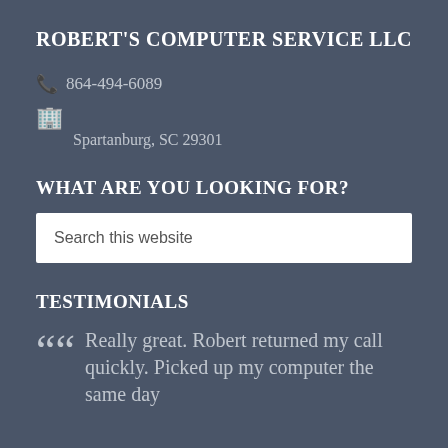ROBERT'S COMPUTER SERVICE LLC
📞 864-494-6089
🏢 Spartanburg, SC 29301
WHAT ARE YOU LOOKING FOR?
Search this website
TESTIMONIALS
Really great. Robert returned my call quickly. Picked up my computer the same day